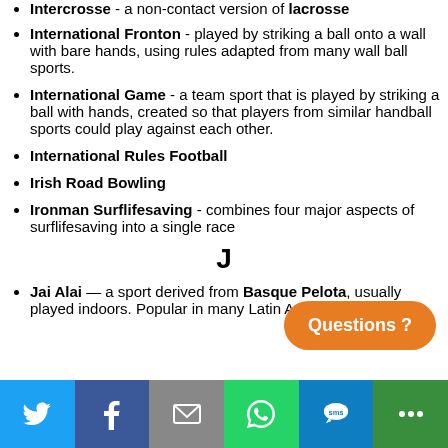Intercrosse - a non-contact version of lacrosse
International Fronton - played by striking a ball onto a wall with bare hands, using rules adapted from many wall ball sports.
International Game - a team sport that is played by striking a ball with hands, created so that players from similar handball sports could play against each other.
International Rules Football
Irish Road Bowling
Ironman Surflifesaving - combines four major aspects of surflifesaving into a single race
J
Jai Alai — a sport derived from Basque Pelota, usually played indoors. Popular in many Latin American countries.